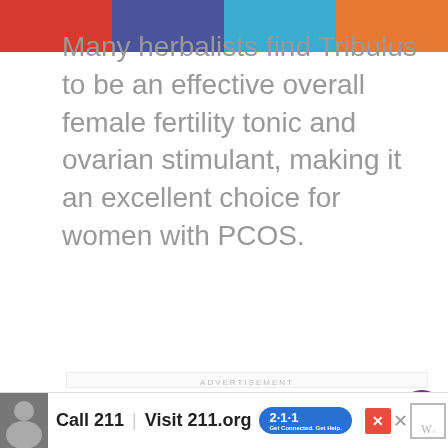[Figure (other): Colored top bar with four segments: red, dark blue/purple, light blue, orange]
Many herbalists find Tribulus to be an effective overall female fertility tonic and ovarian stimulant, making it an excellent choice for women with PCOS.
ADVERTISEMENT
[Figure (photo): Advertisement image showing a tuxedo cat sticker with heart drawings on a dark teal background. Has an X close button in top right.]
[Figure (other): Social sidebar with purple heart button showing 1.7K likes, and blue share button]
[Figure (other): Bottom advertisement bar: Call 211 | Visit 211.org with 2·1·1 badge logo, close button, W logo]